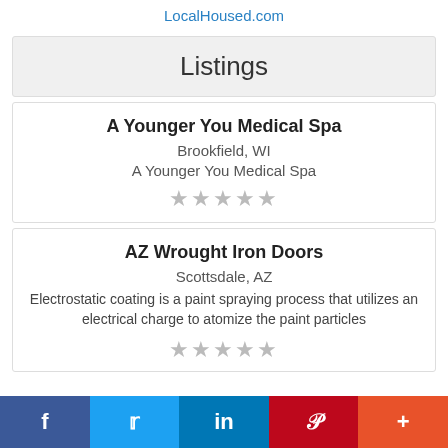LocalHoused.com
Listings
A Younger You Medical Spa
Brookfield, WI
A Younger You Medical Spa
AZ Wrought Iron Doors
Scottsdale, AZ
Electrostatic coating is a paint spraying process that utilizes an electrical charge to atomize the paint particles
f  Twitter  in  Pinterest  +